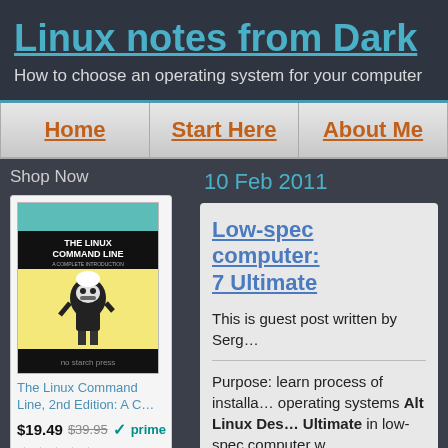Linux notes from Dark
How to choose an operating system for your computer
Home
Start Here
About Me
Shop Now
[Figure (illustration): Book cover for The Linux Command Line showing a robot chef]
The Linux Command Line, 2nd Edition: A C…
$19.49  $39.95  ✓prime  ★★★★★ (1463)
10 Feb 2011
Low-spec computer: 7 Ultimate
This is guest post written by Serg…
Purpose: learn process of installa… operating systems Alt Linux Des… Ultimate in low-spec computer w…